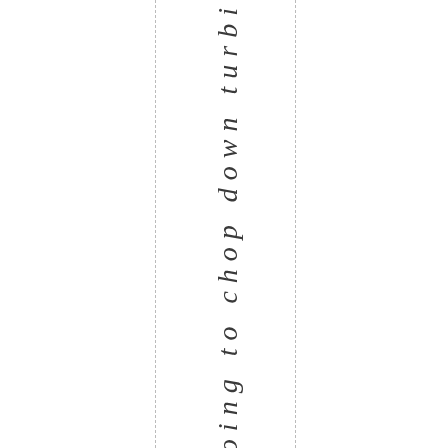We, regoing to chop down turbi